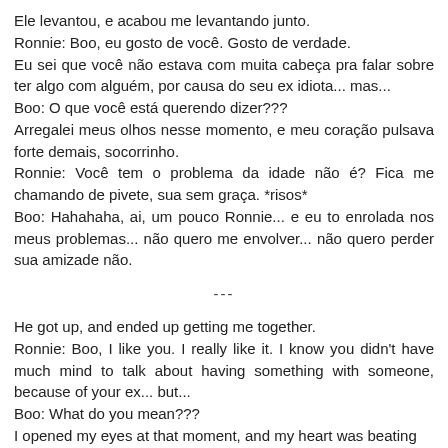Ele levantou, e acabou me levantando junto.
Ronnie: Boo, eu gosto de você. Gosto de verdade.
Eu sei que você não estava com muita cabeça pra falar sobre ter algo com alguém, por causa do seu ex idiota... mas...
Boo: O que você está querendo dizer???
Arregalei meus olhos nesse momento, e meu coração pulsava forte demais, socorrinho.
Ronnie: Você tem o problema da idade não é? Fica me chamando de pivete, sua sem graça. *risos*
Boo: Hahahaha, ai, um pouco Ronnie... e eu to enrolada nos meus problemas... não quero me envolver... não quero perder sua amizade não.
---
He got up, and ended up getting me together.
Ronnie: Boo, I like you. I really like it. I know you didn't have much mind to talk about having something with someone, because of your ex... but...
Boo: What do you mean???
I opened my eyes at that moment, and my heart was beating